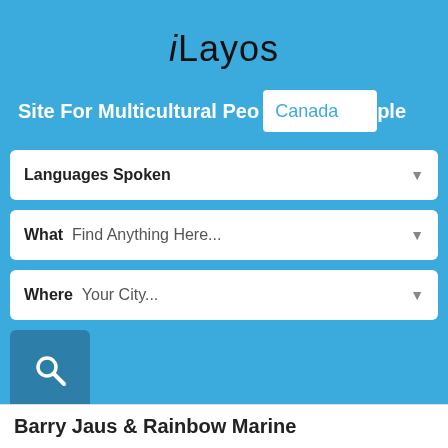iLayos
Site For Multicultural People Canada
Languages Spoken
What  Find Anything Here...
Where  Your City...
[Figure (other): Search button with magnifying glass icon]
[Figure (other): Hamburger menu icon with three horizontal lines]
Barry Jaus & Rainbow Marine